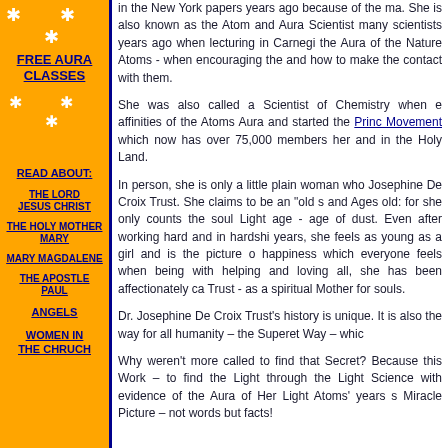FREE AURA CLASSES
* * *
READ ABOUT:
THE LORD JESUS CHRIST
THE HOLY MOTHER MARY
MARY MAGDALENE
THE APOSTLE PAUL
ANGELS
WOMEN IN THE CHRUCH
in the New York papers years ago because of the ma. She is also known as the Atom and Aura Scientist many scientists years ago when lecturing in Carnegi the Aura of the Nature Atoms - when encouraging the and how to make the contact with them.
She was also called a Scientist of Chemistry when e affinities of the Atoms Aura and started the Prince Movement which now has over 75,000 members her and in the Holy Land.
In person, she is only a little plain woman who Josephine De Croix Trust. She claims to be an "old s and Ages old: for she only counts the soul Light age - age of dust. Even after working hard and in hardshi years, she feels as young as a girl and is the picture o happiness which everyone feels when being with helping and loving all, she has been affectionately ca Trust - as a spiritual Mother for souls.
Dr. Josephine De Croix Trust's history is unique. It is also the way for all humanity – the Superet Way – whic
Why weren't more called to find that Secret? Because this Work – to find the Light through the Light Science with evidence of the Aura of Her Light Atoms' years s Miracle Picture – not words but facts!